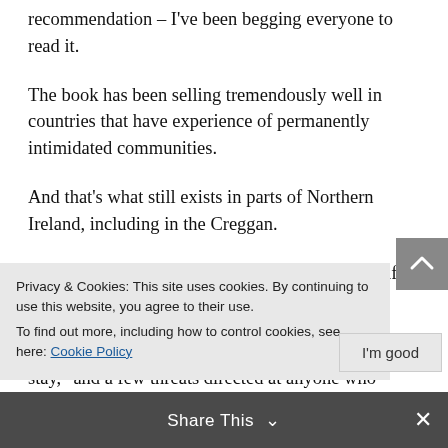recommendation – I've been begging everyone to read it.
The book has been selling tremendously well in countries that have experience of permanently intimidated communities.
And that's what still exists in parts of Northern Ireland, including in the Creggan.
Optimists were buoyed when some New IRA graffiti was defaced after Lyra's death, but it
Privacy & Cookies: This site uses cookies. By continuing to use this website, you agree to their use. To find out more, including how to control cookies, see here: Cookie Policy
stay," and a few threats directed at anyone who